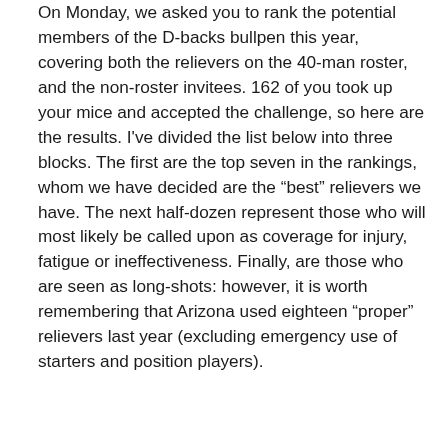On Monday, we asked you to rank the potential members of the D-backs bullpen this year, covering both the relievers on the 40-man roster, and the non-roster invitees. 162 of you took up your mice and accepted the challenge, so here are the results. I've divided the list below into three blocks. The first are the top seven in the rankings, whom we have decided are the “best” relievers we have. The next half-dozen represent those who will most likely be called upon as coverage for injury, fatigue or ineffectiveness. Finally, are those who are seen as long-shots: however, it is worth remembering that Arizona used eighteen “proper” relievers last year (excluding emergency use of starters and position players).